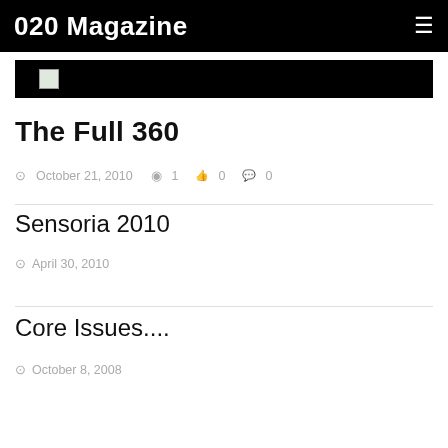020 Magazine
[Figure (other): Banner image with broken image icon on black background]
The Full 360
October 21, 2010   1   0   0
Sensoria 2010
April 30, 2010
Core Issues....
October 8, 2008